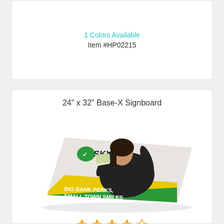1 Colors Available
Item #HP02215
24" x 32" Base-X Signboard
[Figure (photo): A signboard product shown at an angle displaying a green and white promotional banner with 'SKYLON' text and 'BIG BANK PERKS, SMALL TOWN SMILES' message, featuring a woman holding cash.]
★★★★☆ (4 out of 5 stars)